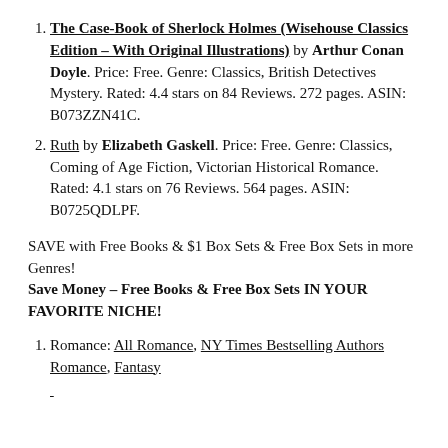**The Case-Book of Sherlock Holmes (Wisehouse Classics Edition – With Original Illustrations) by Arthur Conan Doyle. Price: Free. Genre: Classics, British Detectives Mystery. Rated: 4.4 stars on 84 Reviews. 272 pages. ASIN: B073ZZN41C.
Ruth by Elizabeth Gaskell. Price: Free. Genre: Classics, Coming of Age Fiction, Victorian Historical Romance. Rated: 4.1 stars on 76 Reviews. 564 pages. ASIN: B0725QDLPF.
SAVE with Free Books & $1 Box Sets & Free Box Sets in more Genres!
Save Money – Free Books & Free Box Sets IN YOUR FAVORITE NICHE!
Romance: All Romance, NY Times Bestselling Authors Romance, Fantasy